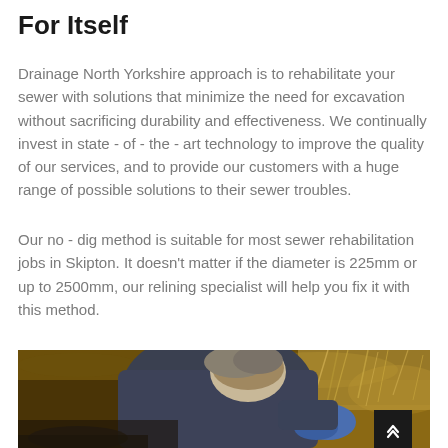For Itself
Drainage North Yorkshire approach is to rehabilitate your sewer with solutions that minimize the need for excavation without sacrificing durability and effectiveness. We continually invest in state - of - the - art technology to improve the quality of our services, and to provide our customers with a huge range of possible solutions to their sewer troubles.
Our no - dig method is suitable for most sewer rehabilitation jobs in Skipton. It doesn't matter if the diameter is 225mm or up to 2500mm, our relining specialist will help you fix it with this method.
[Figure (photo): A person wearing blue gloves crouching in an excavated trench working on a drainage or sewer pipeline in dirt/soil ground.]